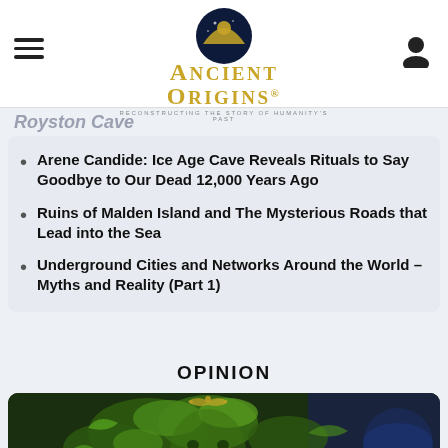Ancient Origins – Reconstructing the story of humanity's past
Arene Candide: Ice Age Cave Reveals Rituals to Say Goodbye to Our Dead 12,000 Years Ago
Ruins of Malden Island and The Mysterious Roads that Lead into the Sea
Underground Cities and Networks Around the World – Myths and Reality (Part 1)
OPINION
[Figure (illustration): Decorative green man face made of intertwining leaves and vines, with golden ornamental details on dark background]
The Truth Behind the Christ Myth: Ancient Origins